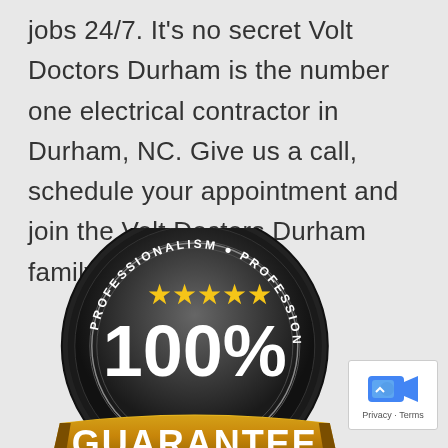jobs 24/7. It's no secret Volt Doctors Durham is the number one electrical contractor in Durham, NC. Give us a call, schedule your appointment and join the Volt Doctors Durham family!
[Figure (illustration): A round black badge/seal with gold and white text reading '100% GUARANTEE' with five gold stars and 'PROFESSIONALISM' text around the border in a circular pattern, with a gold ribbon banner at the bottom reading 'GUARANTEE'.]